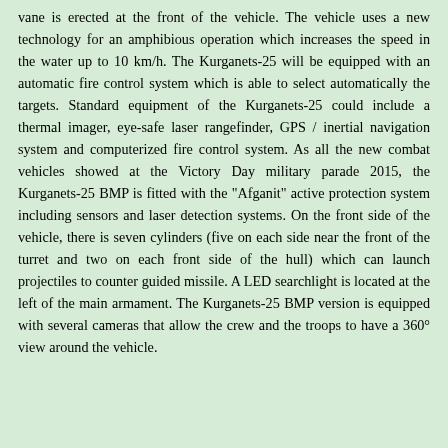vane is erected at the front of the vehicle. The vehicle uses a new technology for an amphibious operation which increases the speed in the water up to 10 km/h. The Kurganets-25 will be equipped with an automatic fire control system which is able to select automatically the targets. Standard equipment of the Kurganets-25 could include a thermal imager, eye-safe laser rangefinder, GPS / inertial navigation system and computerized fire control system. As all the new combat vehicles showed at the Victory Day military parade 2015, the Kurganets-25 BMP is fitted with the "Afganit" active protection system including sensors and laser detection systems. On the front side of the vehicle, there is seven cylinders (five on each side near the front of the turret and two on each front side of the hull) which can launch projectiles to counter guided missile. A LED searchlight is located at the left of the main armament. The Kurganets-25 BMP version is equipped with several cameras that allow the crew and the troops to have a 360° view around the vehicle.